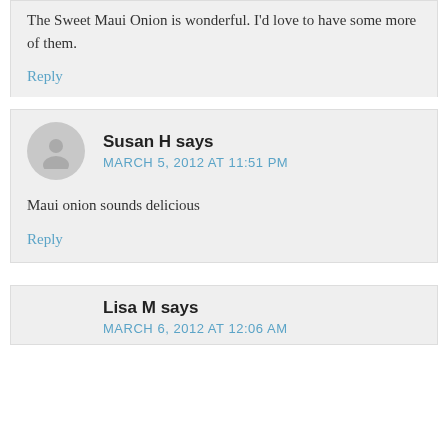The Sweet Maui Onion is wonderful. I’d love to have some more of them.
Reply
Susan H says
MARCH 5, 2012 AT 11:51 PM
Maui onion sounds delicious
Reply
Lisa M says
MARCH 6, 2012 AT 12:06 AM